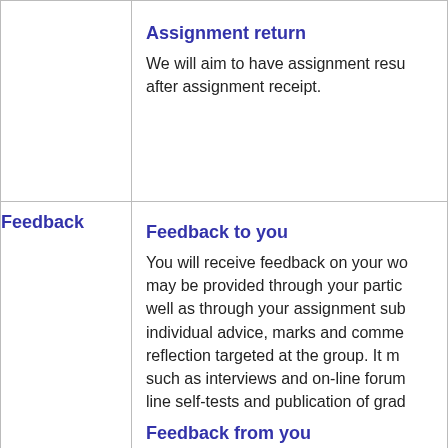Assignment return
We will aim to have assignment results returned to you after assignment receipt.
Feedback
Feedback to you
You will receive feedback on your work. Feedback may be provided through your participation in class as well as through your assignment submissions including individual advice, marks and comments and group reflection targeted at the group. It may also be delivered such as interviews and on-line forums, through on-line self-tests and publication of grades.
Feedback from you
You will be asked to provide feedback through a survey at the end of the semester. Your feedback helps to help teaching staff improve the unit. Completing surveys is very important to the faculty in delivering relevant and high quality learning experiences.
And if you are having problems